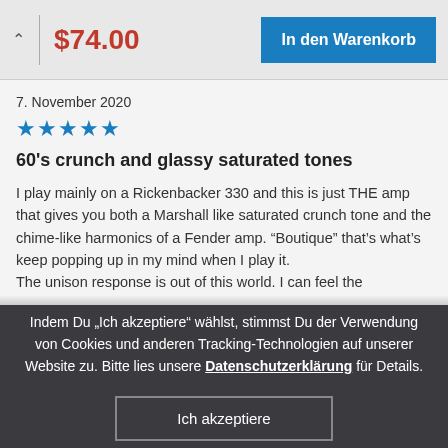$74.00
In den Warenkorb
7. November 2020
[Figure (other): Five blue star rating icons]
60's crunch and glassy saturated tones
I play mainly on a Rickenbacker 330 and this is just THE amp that gives you both a Marshall like saturated crunch tone and the chime-like harmonics of a Fender amp. “Boutique” that’s what’s keep popping up in my mind when I play it.
The unison response is out of this world. I can feel the
Indem Du “Ich akzeptiere” wählst, stimmst Du der Verwendung von Cookies und anderen Tracking-Technologien auf unserer Website zu. Bitte lies unsere Datenschutzerklärung für Details.
Ich akzeptiere